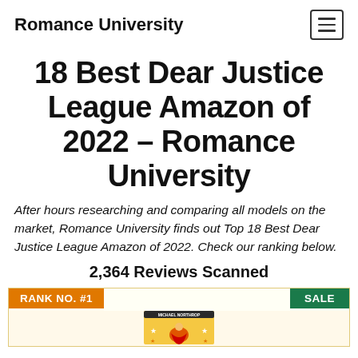Romance University
18 Best Dear Justice League Amazon of 2022 – Romance University
After hours researching and comparing all models on the market, Romance University finds out Top 18 Best Dear Justice League Amazon of 2022. Check our ranking below.
2,364 Reviews Scanned
[Figure (other): Product card with RANK NO. #1 orange badge, SALE green badge, and a book cover image for Dear Justice League by Michael Northrop at the bottom]